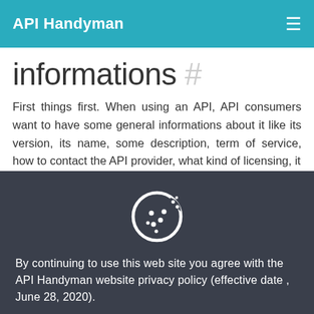API Handyman
API general informations #
First things first. When using an API, API consumers want to have some general informations about it like its version, its name, some description, term of service, how to contact the API provider, what kind of licensing, it
[Figure (illustration): Cookie icon — white cookie with dots on dark background, representing cookie consent notice]
By continuing to use this web site you agree with the API Handyman website privacy policy (effective date , June 28, 2020).
Read privacy policy  Happy with that